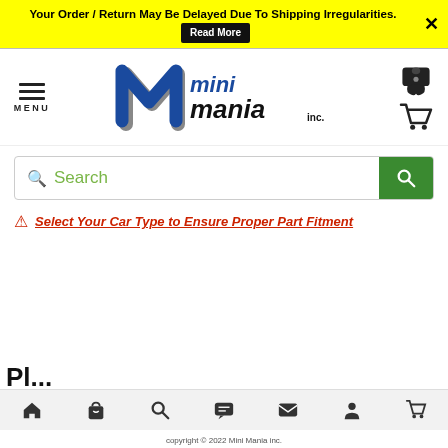Your Order / Return May Be Delayed Due To Shipping Irregularities. Read More ×
[Figure (logo): Mini Mania inc. logo with stylized blue/grey 'm' and bold italic text]
MENU
🔍 Search
⚠ Select Your Car Type to Ensure Proper Part Fitment
copyright © 2022 Mini Mania inc.